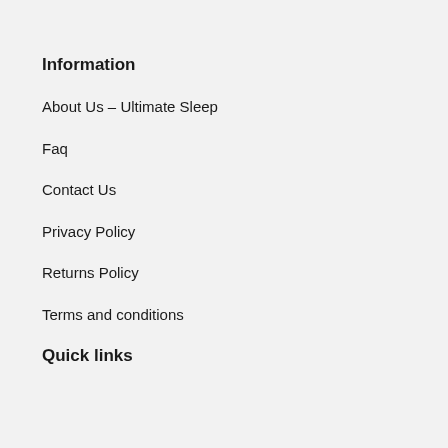Information
About Us – Ultimate Sleep
Faq
Contact Us
Privacy Policy
Returns Policy
Terms and conditions
Quick links